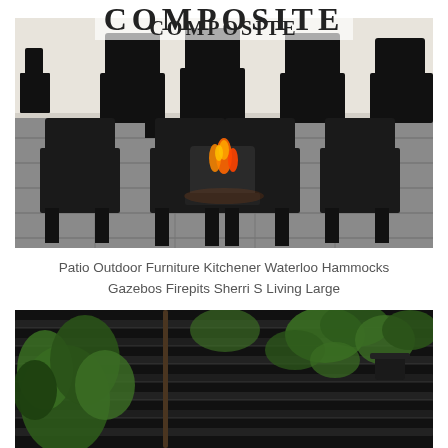COMPOSITE
[Figure (photo): Black modern Adirondack chairs arranged around a fire pit on a grey stone patio, photographed at dusk or evening with a lit fire visible in the center]
Patio Outdoor Furniture Kitchener Waterloo Hammocks Gazebos Firepits Sherri S Living Large
[Figure (photo): Black horizontal slat fence or privacy screen with hanging green plants and potted plants against it, showing lush tropical and green foliage]